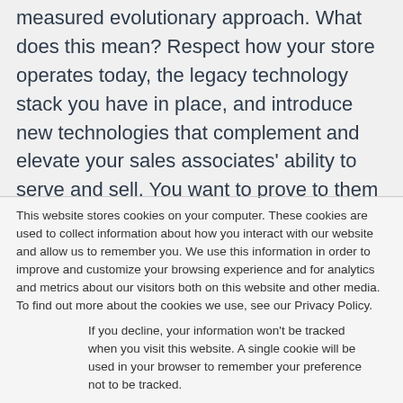measured evolutionary approach. What does this mean? Respect how your store operates today, the legacy technology stack you have in place, and introduce new technologies that complement and elevate your sales associates' ability to serve and sell. You want to prove to them that these technologies make their lives easier and are not seen as extra work.
This website stores cookies on your computer. These cookies are used to collect information about how you interact with our website and allow us to remember you. We use this information in order to improve and customize your browsing experience and for analytics and metrics about our visitors both on this website and other media. To find out more about the cookies we use, see our Privacy Policy.
If you decline, your information won't be tracked when you visit this website. A single cookie will be used in your browser to remember your preference not to be tracked.